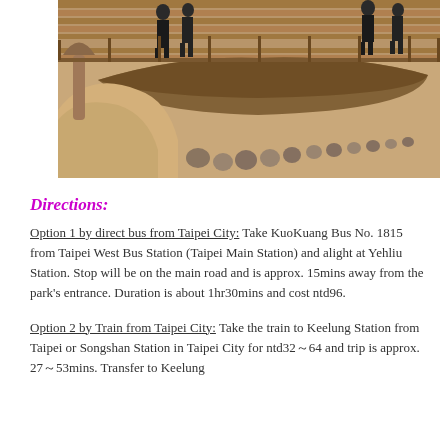[Figure (photo): Outdoor scene showing a sandy area with rocks arranged in a line, a large wooden boat structure, and people standing on an elevated wooden walkway or platform in the background. The landscape appears to be an archaeological or park site.]
Directions:
Option 1 by direct bus from Taipei City: Take KuoKuang Bus No. 1815 from Taipei West Bus Station (Taipei Main Station) and alight at Yehliu Station. Stop will be on the main road and is approx. 15mins away from the park's entrance. Duration is about 1hr30mins and cost ntd96.
Option 2 by Train from Taipei City: Take the train to Keelung Station from Taipei or Songshan Station in Taipei City for ntd32~64 and trip is approx. 27~53mins. Transfer to Keelung